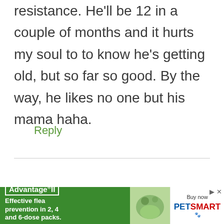resistance. He'll be 12 in a couple of months and it hurts my soul to to know he's getting old, but so far so good. By the way, he likes no one but his mama haha.
Reply
Brenda says:
[Figure (other): Advertisement banner for Advantage II flea prevention product with PetSmart branding. Green background with white text reading 'Effective flea prevention in 2, 4 and 6-dose packs.' Advantage II logo on left, pet image in center, PetSmart logo on right with 'Buy now' text.]